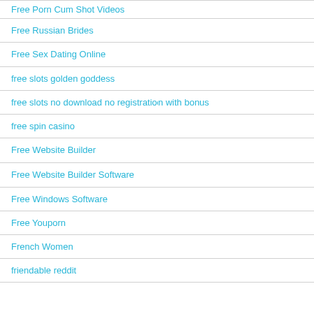Free Porn Cum Shot Videos
Free Russian Brides
Free Sex Dating Online
free slots golden goddess
free slots no download no registration with bonus
free spin casino
Free Website Builder
Free Website Builder Software
Free Windows Software
Free Youporn
French Women
friendable reddit